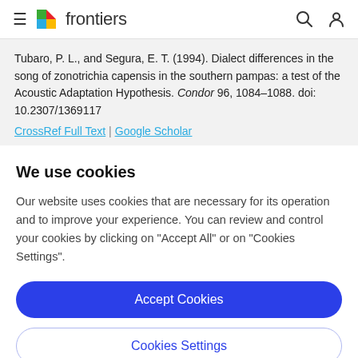frontiers
Tubaro, P. L., and Segura, E. T. (1994). Dialect differences in the song of zonotrichia capensis in the southern pampas: a test of the Acoustic Adaptation Hypothesis. Condor 96, 1084–1088. doi: 10.2307/1369117
CrossRef Full Text | Google Scholar
We use cookies
Our website uses cookies that are necessary for its operation and to improve your experience. You can review and control your cookies by clicking on "Accept All" or on "Cookies Settings".
Accept Cookies
Cookies Settings